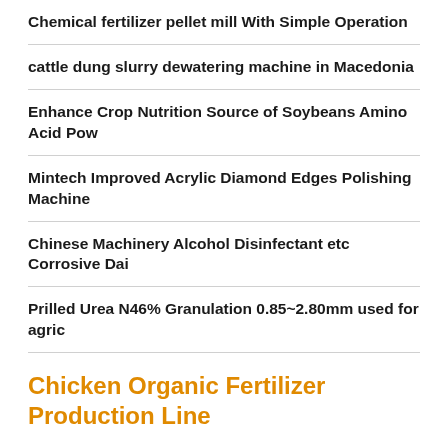Chemical fertilizer pellet mill With Simple Operation
cattle dung slurry dewatering machine in Macedonia
Enhance Crop Nutrition Source of Soybeans Amino Acid Pow
Mintech Improved Acrylic Diamond Edges Polishing Machine
Chinese Machinery Alcohol Disinfectant etc Corrosive Dai
Prilled Urea N46% Granulation 0.85~2.80mm used for agric
Chicken Organic Fertilizer Production Line
Tunnel Type Microwave Drying Machine for Sale